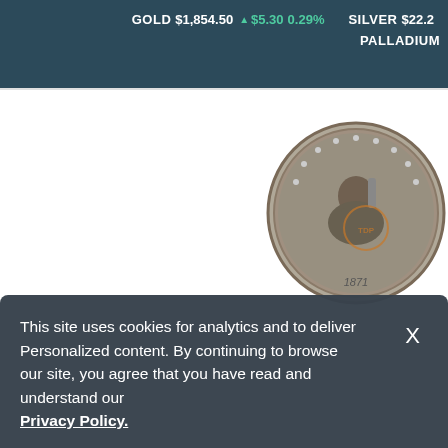GOLD $1,854.50 ▲ $5.30 0.29%   SILVER $22.2   PALLADIUM
[Figure (photo): A silver coin (Seated Liberty design, dated 1871) showing the obverse with a seated figure and stars around the rim.]
This site uses cookies for analytics and to deliver Personalized content. By continuing to browse our site, you agree that you have read and understand our Privacy Policy.